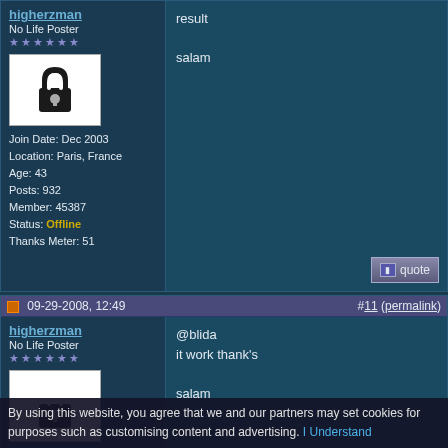higherzman
No Life Poster
★★★★★★
Join Date: Dec 2003
Location: Paris, France
Age: 43
Posts: 932
Member: 45387
Status: Offline
Thanks Meter: 51
result

salam
09-29-2008, 12:49  #11 (permalink)
higherzman
No Life Poster
★★★★★★
Join Date: Dec 2003
Location: Paris, France
Age: 43
Posts: 932
Member: 45387
Status: Offline
Thanks Meter: 51
@blida
it work thank's

salam
By using this website, you agree that we and our partners may set cookies for purposes such as customising content and advertising. I Understand